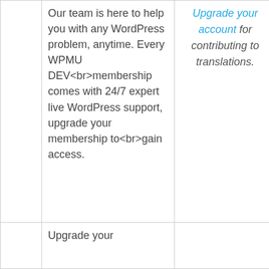|  | Our team is here to help you with any WordPress problem, anytime. Every WPMU DEV<br>membership comes with 24/7 expert live WordPress support, upgrade your membership to<br>gain access. | Upgrade your account for contributing to translations. | Details |
|  | Upgrade your |  | Details |